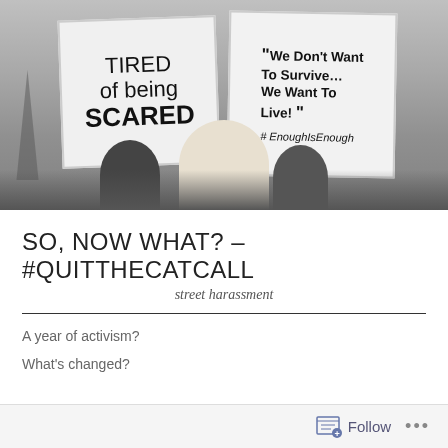[Figure (photo): Black and white photograph of protesters holding signs. Left sign reads 'TIRED of being SCARED'. Right sign reads '"We Don't Want To Survive... We Want To Live!" #EnoughIsEnough']
SO, NOW WHAT? – #QUITTHECATCALL
street harassment
A year of activism?
What's changed?
Follow ...